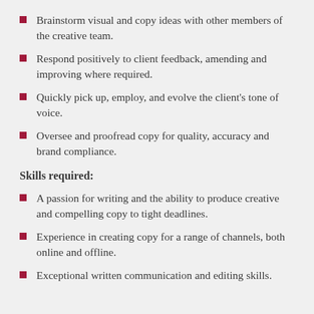Brainstorm visual and copy ideas with other members of the creative team.
Respond positively to client feedback, amending and improving where required.
Quickly pick up, employ, and evolve the client's tone of voice.
Oversee and proofread copy for quality, accuracy and brand compliance.
Skills required:
A passion for writing and the ability to produce creative and compelling copy to tight deadlines.
Experience in creating copy for a range of channels, both online and offline.
Exceptional written communication and editing skills.